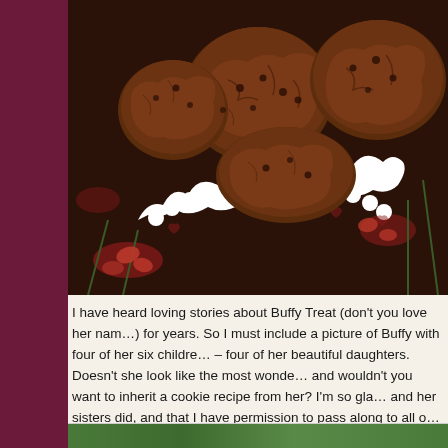[Figure (photo): Close-up photo of chocolate cookies piled on a white decorative plate with scalloped edges, set against a dark floral background with red flowers and green stems.]
I have heard loving stories about Buffy Treat (don't you love her name!) for years. So I must include a picture of Buffy with four of her six children – four of her beautiful daughters. Doesn't she look like the most wonderful and wouldn't you want to inherit a cookie recipe from her? I'm so glad and her sisters did, and that I have permission to pass along to all o
[Figure (photo): Partial view of a second photo at the bottom of the page showing green foliage.]